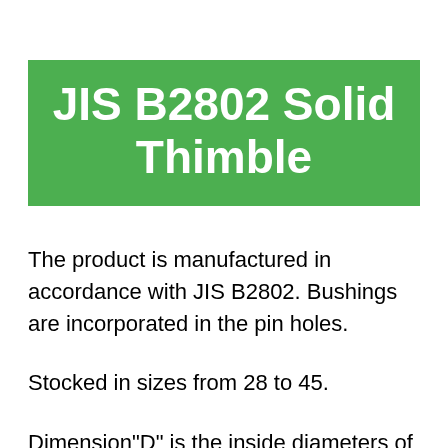JIS B2802 Solid Thimble
The product is manufactured in accordance with JIS B2802. Bushings are incorporated in the pin holes.
Stocked in sizes from 28 to 45.
Dimension"D" is the inside diameters of steel bush.